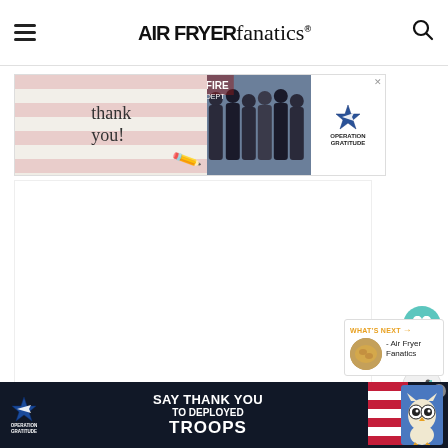AIR FRYER fanatics
[Figure (screenshot): Operation Gratitude Thank You advertisement banner with firefighters/military personnel photo]
[Figure (screenshot): Main content area of Air Fryer Fanatics website (blank/loading)]
[Figure (screenshot): What's Next navigation widget showing Air Fryer Fanatics link with food thumbnail]
[Figure (screenshot): Operation Gratitude bottom banner ad: SAY THANK YOU TO DEPLOYED TROOPS with owl weather widget]